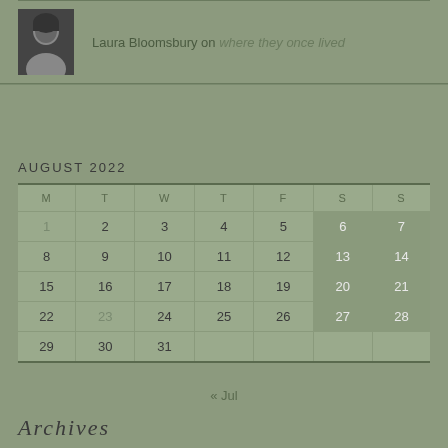[Figure (photo): Small black and white portrait photo of Laura Bloomsbury]
Laura Bloomsbury on where they once lived
AUGUST 2022
| M | T | W | T | F | S | S |
| --- | --- | --- | --- | --- | --- | --- |
| 1 | 2 | 3 | 4 | 5 | 6 | 7 |
| 8 | 9 | 10 | 11 | 12 | 13 | 14 |
| 15 | 16 | 17 | 18 | 19 | 20 | 21 |
| 22 | 23 | 24 | 25 | 26 | 27 | 28 |
| 29 | 30 | 31 |  |  |  |  |
« Jul
Archives